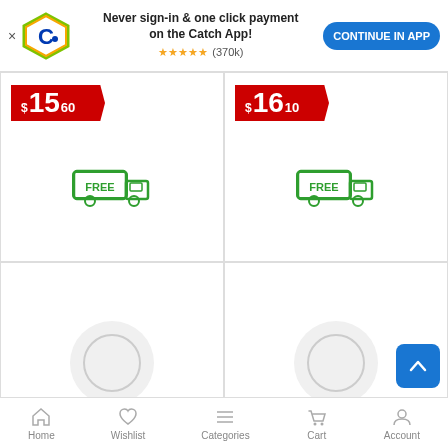[Figure (screenshot): App promotion banner with Catch.com.au logo, text 'Never sign-in & one click payment on the Catch App!', star rating 5 stars (370k reviews), and 'CONTINUE IN APP' button]
[Figure (other): Product card top-left showing price $15.60 and free delivery truck icon]
[Figure (other): Product card top-right showing price $16.10 and free delivery truck icon]
[Figure (other): Product card bottom-left showing loading spinner and product title 'Ice Cream Mold Stable Base Skidding Prevent']
[Figure (other): Product card bottom-right showing loading spinner and product title 'DECARETA Tart Tins,Quiche Pans,6pcs']
Home  Wishlist  Categories  Cart  Account